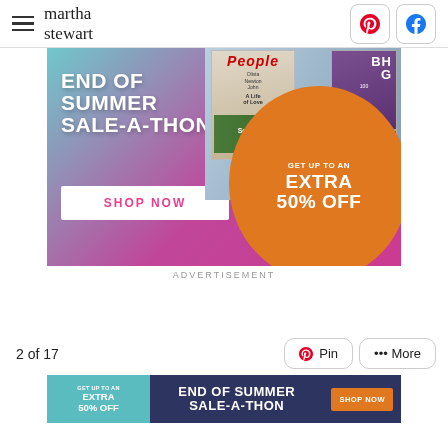martha stewart
[Figure (infographic): End of Summer Sale-A-Thon advertisement banner with Shop Now button, magazine covers (People, BHG, allrecipes), and orange circle with Get Up To An Extra 50% Off]
ADVERTISEMENT
2 of 17
[Figure (infographic): Bottom banner ad: Get Up To An Extra 50% Off | End Of Summer Sale-A-Thon | Shop Now button]